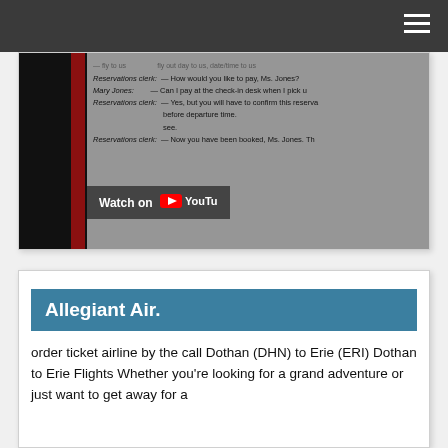Navigation bar with hamburger menu
[Figure (screenshot): YouTube video screenshot showing a dialog transcript about flight reservations with 'Watch on YouTube' overlay. Text includes: Reservations clerk: — How would you like to pay, Ms. Jones? / Mary Jones: — Can I pay at the check-in desk when I pick u... / Reservations clerk: — Yes, but you will have to confirm this reserva... before departure time. / ...see. / Reservations clerk: — Now you have been booked, Ms. Jones. Th...]
Allegiant Air.
order ticket airline by the call Dothan (DHN) to Erie (ERI) Dothan to Erie Flights Whether you're looking for a grand adventure or just want to get away for a